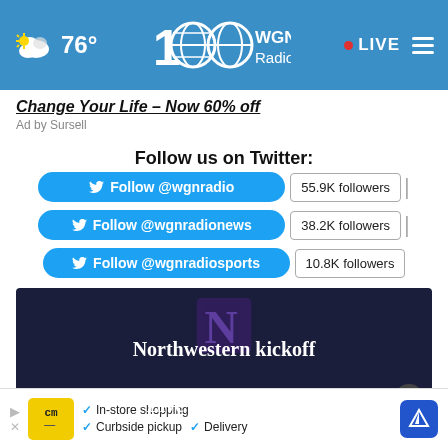76° WGN Radio 100 LIVE
Change Your Life – Now 60% off
Ad by Sursell
Follow us on Twitter:
Follow @wgnradio – 55.9K followers
Follow @wgnradionews – 38.2K followers
Follow @wgnradiosports – 10.8K followers
[Figure (screenshot): Northwestern kickoff – Live from Dublin! promotional banner with Northwestern N logo on dark navy background]
[Figure (infographic): Bottom advertisement: cm logo, In-store shopping, Curbside pickup, Delivery]